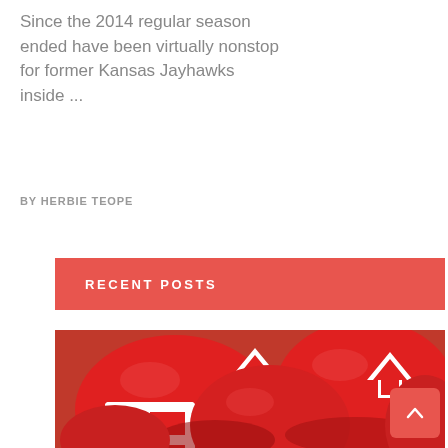Since the 2014 regular season ended have been virtually nonstop for former Kansas Jayhawks inside ...
BY HERBIE TEOPE
RECENT POSTS
[Figure (photo): Pile of red Kansas City Chiefs football helmets with white facemasks and Chiefs logo]
[Figure (other): Scroll to top button, red rounded square with upward caret arrow]